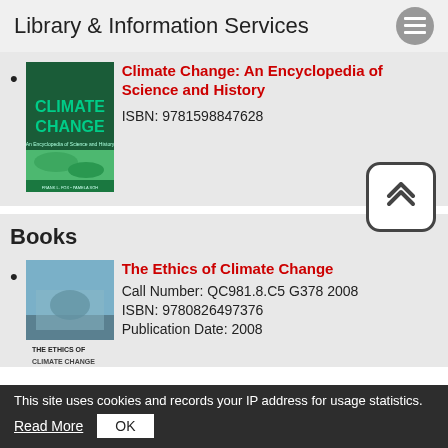Library & Information Services
Climate Change: An Encyclopedia of Science and History
ISBN: 9781598847628
Books
The Ethics of Climate Change
Call Number: QC981.8.C5 G378 2008
ISBN: 9780826497376
Publication Date: 2008
This site uses cookies and records your IP address for usage statistics.
Read More  OK